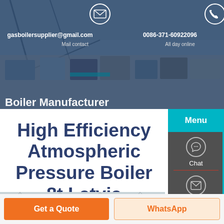gasboilersupplier@gmail.com   Mail contact   0086-371-60922096   All day online
High Efficiency Atmospheric Pressure Boiler 8t Latvia
[Figure (photo): Factory/warehouse interior roof structure photo strip]
Get a Quote
WhatsApp